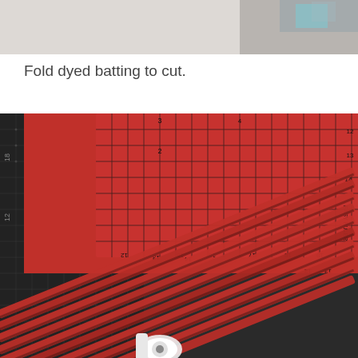[Figure (photo): Partial top view of a crafting scene on a light background, cropped at top of page]
Fold dyed batting to cut.
[Figure (photo): Red dyed batting strips laid out on a dark quilting cutting mat, with a clear ruler (Easy Ruler) placed on top showing measurement markings. The red strips are cut lengthwise and fanned out across the mat. A small white rotary cutter handle is visible at the bottom.]